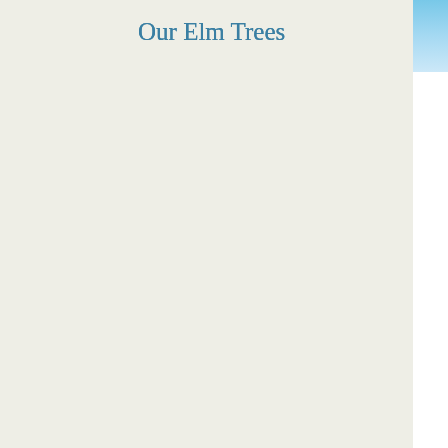Our Elm Trees
[Figure (photo): Partial view of a sky/outdoor photo in the right sidebar, mostly cropped out of view]
[below: How To Spo
There was similar
had 30,000 Elms b
All was lost? Not c